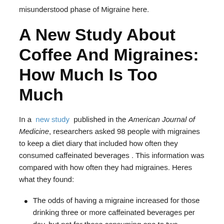misunderstood phase of Migraine here.
A New Study About Coffee And Migraines: How Much Is Too Much
In a new study published in the American Journal of Medicine, researchers asked 98 people with migraines to keep a diet diary that included how often they consumed caffeinated beverages . This information was compared with how often they had migraines. Heres what they found:
The odds of having a migraine increased for those drinking three or more caffeinated beverages per day, but not for those consuming one to two servings per day; the effect lasted through the day after caffeine consumption.